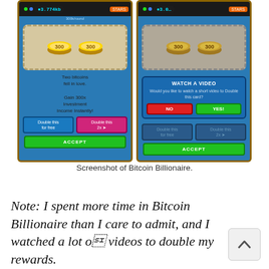[Figure (screenshot): Two side-by-side screenshots of the mobile game Bitcoin Billionaire. Left screenshot shows a card with two gold bitcoin coins, text 'Two bitcoins fell in love. Gain 300x Investment Income Instantly!' and buttons 'Double this for free', 'Double this 2x', and 'ACCEPT'. Right screenshot shows the same card with a 'WATCH A VIDEO' dialog asking 'Would you like to watch a short video to Double this card?' with NO and YES buttons, plus dimmed 'Double this for free' and 'Double this 2x' buttons and an ACCEPT button.]
Screenshot of Bitcoin Billionaire.
Note: I spent more time in Bitcoin Billionaire than I care to admit, and I watched a lot of videos to double my rewards.